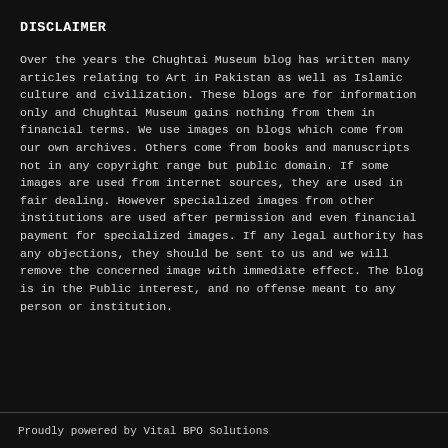DISCLAIMER
Over the years the Chughtai Museum blog has written many articles relating to Art in Pakistan as well as Islamic culture and civilization. These blogs are for information only and Chughtai Museum gains nothing from them in financial terms. We use images on blogs which come from our own archives. Others come from books and manuscripts not in any copyright range but public domain. If some images are used from internet sources, they are used in fair dealing. However specialized images from other institutions are used after permission and even financial payment for specialized images. If any legal authority has any objections, they should be sent to us and we will remove the concerned image with immediate effect. The blog is in the Public interest, and no offense meant to any person or institution.
Proudly powered by Vital BPO Solutions